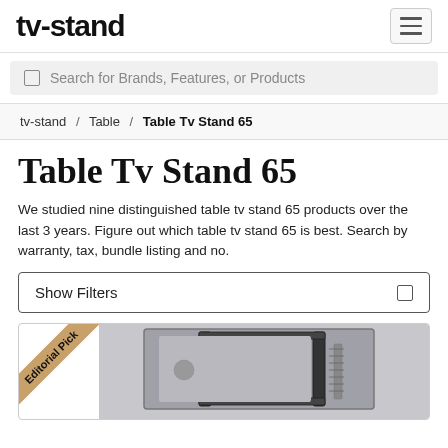tv-stand
Search for Brands, Features, or Products
tv-stand / Table / Table Tv Stand 65
Table Tv Stand 65
We studied nine distinguished table tv stand 65 products over the last 3 years. Figure out which table tv stand 65 is best. Search by warranty, tax, bundle listing and no.
Show Filters
[Figure (photo): Product image of a table TV stand 65 with an Editorial Pick badge in the corner]